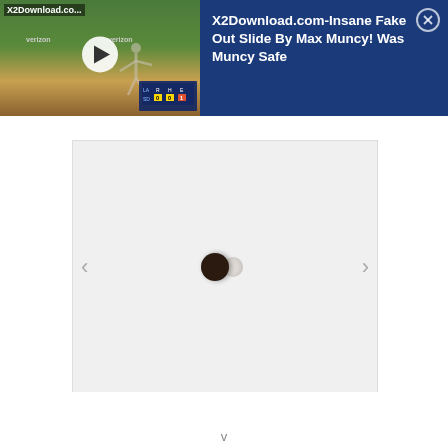[Figure (screenshot): Video thumbnail showing a baseball game with pitcher on field, verizon signage visible, play button overlay, scoreboard in bottom right corner, labeled X2Download.co...]
X2Download.com-Insane Fake Out Slide By Max Muncy! Was Muncy Safe
[Figure (screenshot): Light gray content area with a dark toggle/loading indicator in the center, left and right navigation arrows on sides]
v